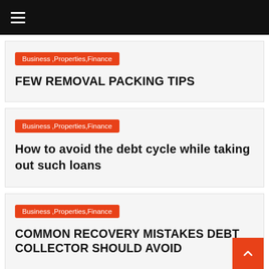≡ (navigation menu)
Business ,Properties,Finance
FEW REMOVAL PACKING TIPS
Business ,Properties,Finance
How to avoid the debt cycle while taking out such loans
Business ,Properties,Finance
COMMON RECOVERY MISTAKES DEBT COLLECTOR SHOULD AVOID